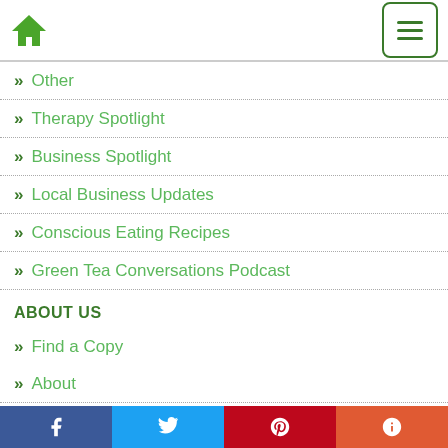Home | Menu
Other
Therapy Spotlight
Business Spotlight
Local Business Updates
Conscious Eating Recipes
Green Tea Conversations Podcast
ABOUT US
Find a Copy
About
Join Our Email List
Facebook | Twitter | Pinterest | More